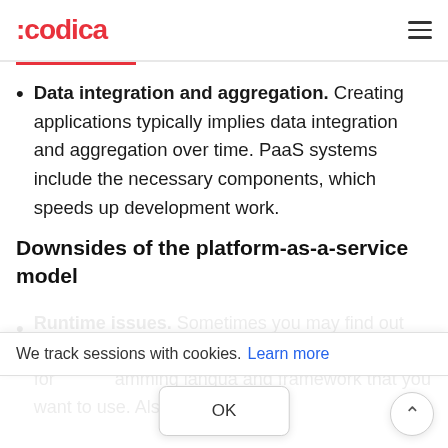:codica
Data integration and aggregation. Creating applications typically implies data integration and aggregation over time. PaaS systems include the necessary components, which speeds up development work.
Downsides of the platform-as-a-service model
Runtime issues. Sometimes you may find out that PaaS service models are not customized for programming languages and framework that you want to use. Also, it
We track sessions with cookies. Learn more
OK